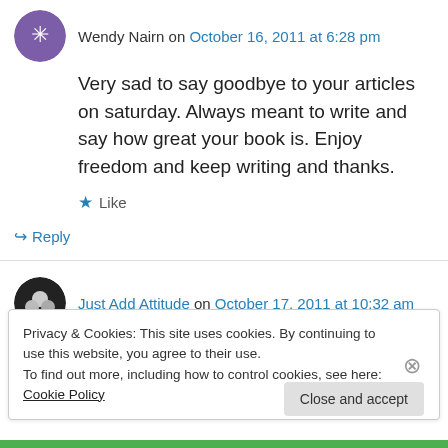Wendy Nairn on October 16, 2011 at 6:28 pm
Very sad to say goodbye to your articles on saturday. Always meant to write and say how great your book is. Enjoy freedom and keep writing and thanks.
Like
Reply
Just Add Attitude on October 17, 2011 at 10:32 am
Privacy & Cookies: This site uses cookies. By continuing to use this website, you agree to their use.
To find out more, including how to control cookies, see here: Cookie Policy